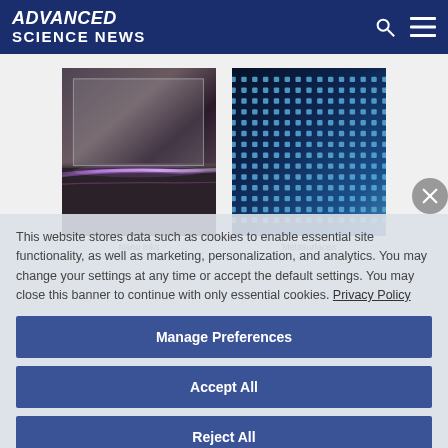ADVANCED SCIENCE NEWS
[Figure (photo): Laser beam on optical bench — purple/violet laser light streak on a dark surface with reflective equipment]
[Figure (photo): Close-up of a metasurface — dark blue grid pattern of nano-dots or nano-holes in regular array]
Nano Inks
Metasurfaces
This website stores data such as cookies to enable essential site functionality, as well as marketing, personalization, and analytics. You may change your settings at any time or accept the default settings. You may close this banner to continue with only essential cookies. Privacy Policy
Manage Preferences
Accept All
Reject All